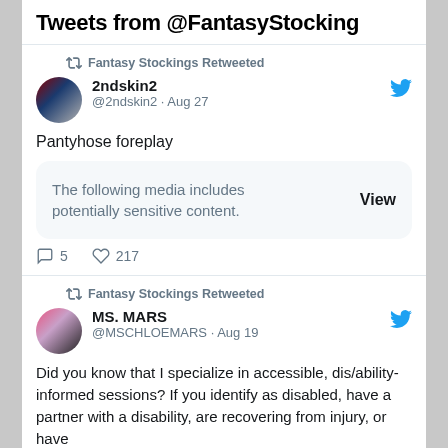Tweets from @FantasyStocking
Fantasy Stockings Retweeted
2ndskin2 @2ndskin2 · Aug 27
Pantyhose foreplay
The following media includes potentially sensitive content. View
5  217
Fantasy Stockings Retweeted
MS. MARS @MSCHLOEMARS · Aug 19
Did you know that I specialize in accessible, dis/ability-informed sessions? If you identify as disabled, have a partner with a disability, are recovering from injury, or have